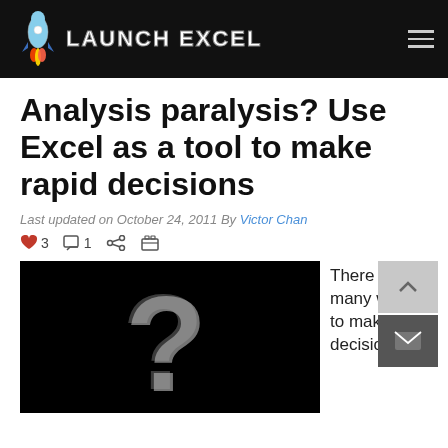[Figure (logo): Launch Excel logo with rocket icon and bold text on black header bar]
Analysis paralysis? Use Excel as a tool to make rapid decisions
Last updated on October 24, 2011 By Victor Chan
♥ 3  □ 1  < share  print icons
[Figure (photo): 3D question mark on black background]
There are many ways to make decisions